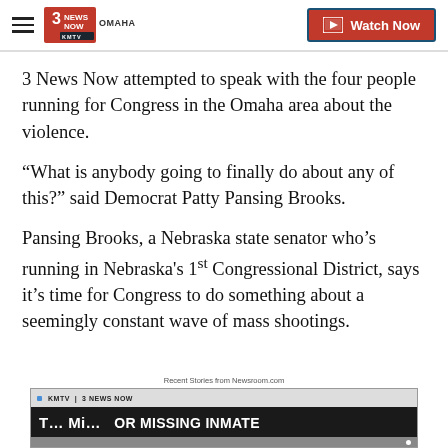3 News Now KMTV Omaha — Watch Now
3 News Now attempted to speak with the four people running for Congress in the Omaha area about the violence.
“What is anybody going to finally do about any of this?” said Democrat Patty Pansing Brooks.
Pansing Brooks, a Nebraska state senator who’s running in Nebraska's 1st Congressional District, says it’s time for Congress to do something about a seemingly constant wave of mass shootings.
Recent Stories from Newsroom.com
[Figure (screenshot): Video thumbnail showing KMTV 3 News Now station label and headline 'OR MISSING INMATE' partially visible]